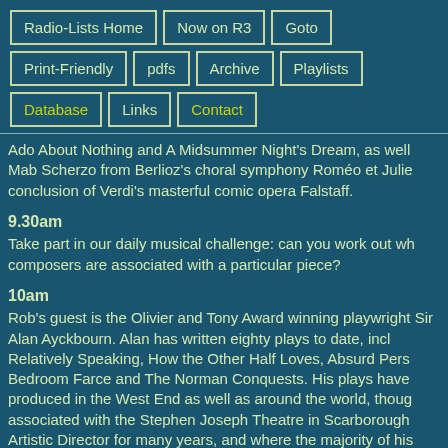Radio-Lists Home
Now on R3
Goto
Print-Friendly
pdfs
Archive
Playlists
Database
Links
Contact
Ado About Nothing and A Midsummer Night's Dream, as well Mab Scherzo from Berlioz's choral symphony Roméo et Julie conclusion of Verdi's masterful comic opera Falstaff.
9.30am
Take part in our daily musical challenge: can you work out wh composers are associated with a particular piece?
10am
Rob's guest is the Olivier and Tony Award winning playwright Sir Alan Ayckbourn. Alan has written eighty plays to date, incl Relatively Speaking, How the Other Half Loves, Absurd Pers Bedroom Farce and The Norman Conquests. His plays have produced in the West End as well as around the world, thoug associated with the Stephen Joseph Theatre in Scarborough Artistic Director for many years, and where the majority of his